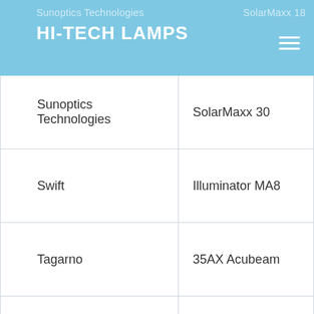Sunoptics Technologies | SolarMaxx 18
HI-TECH LAMPS
| Brand | Product |
| --- | --- |
| Sunoptics Technologies | SolarMaxx 30 |
| Swift | Illuminator MA8 |
| Tagarno | 35AX Acubeam |
| Toshiba | TRE-3000 |
| Unitron | Versamet EL-X |
| Vanguard | XR-300 |